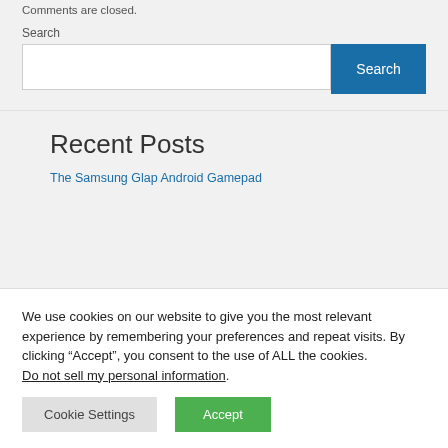Comments are closed.
Search
Search input and button
Recent Posts
The Samsung Glap Android Gamepad
We use cookies on our website to give you the most relevant experience by remembering your preferences and repeat visits. By clicking “Accept”, you consent to the use of ALL the cookies. Do not sell my personal information.
Cookie Settings  Accept